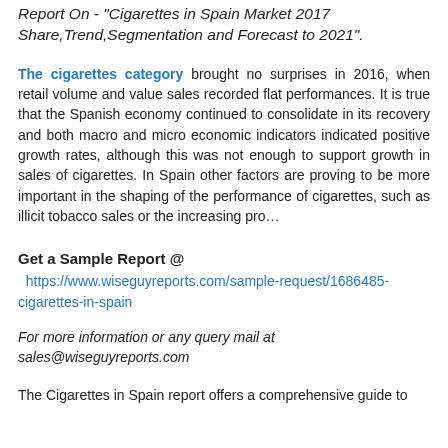Report On - "Cigarettes in Spain Market 2017 Share,Trend,Segmentation and Forecast to 2021".
The cigarettes category brought no surprises in 2016, when retail volume and value sales recorded flat performances. It is true that the Spanish economy continued to consolidate in its recovery and both macro and micro economic indicators indicated positive growth rates, although this was not enough to support growth in sales of cigarettes. In Spain other factors are proving to be more important in the shaping of the performance of cigarettes, such as illicit tobacco sales or the increasing pro…
Get a Sample Report @ https://www.wiseguyreports.com/sample-request/1686485-cigarettes-in-spain
For more information or any query mail at sales@wiseguyreports.com
The Cigarettes in Spain report offers a comprehensive guide to